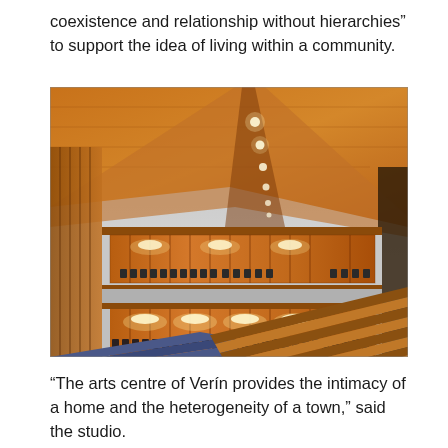coexistence and relationship without hierarchies” to support the idea of living within a community.
[Figure (photo): Interior of the arts centre of Verín showing a concert hall or auditorium with warm wood-paneled walls and ceiling, tiered balcony seating sections with orange-lit panels, blue upholstered seats in the foreground stalls, and rows of wooden seats visible in the lower level.]
“The arts centre of Verín provides the intimacy of a home and the heterogeneity of a town,” said the studio.